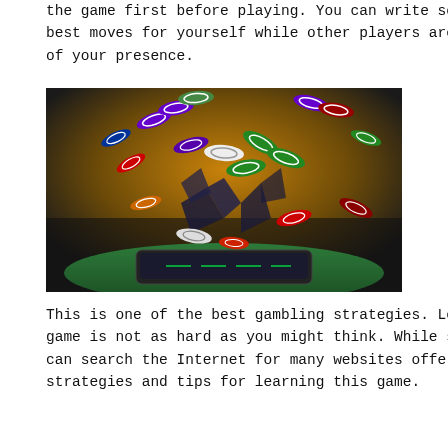the game first before playing. You can write some of the best moves for yourself while other players are unaware of your presence.
[Figure (photo): Casino chips of various colors (purple, green, red, white, orange) exploding upward from a tablet device against a dark background with green floor surface.]
This is one of the best gambling strategies. Learning the game is not as hard as you might think. While studying, you can search the Internet for many websites offering various strategies and tips for learning this game.